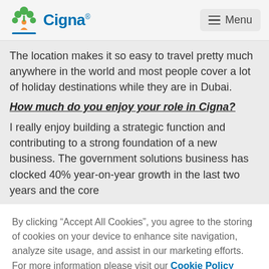Cigna [logo] Menu
The location makes it so easy to travel pretty much anywhere in the world and most people cover a lot of holiday destinations while they are in Dubai.
How much do you enjoy your role in Cigna?
I really enjoy building a strategic function and contributing to a strong foundation of a new business. The government solutions business has clocked 40% year-on-year growth in the last two years and the core
By clicking “Accept All Cookies”, you agree to the storing of cookies on your device to enhance site navigation, analyze site usage, and assist in our marketing efforts. For more information please visit our Cookie Policy